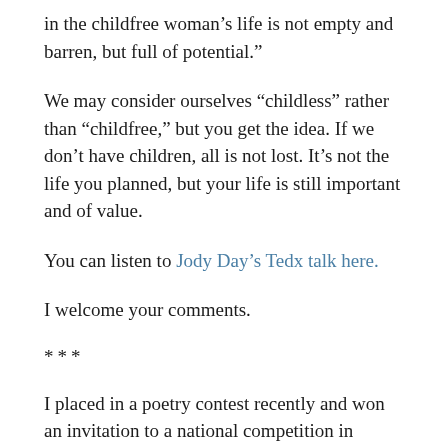in the childfree woman’s life is not empty and barren, but full of potential.”
We may consider ourselves “childless” rather than “childfree,” but you get the idea. If we don’t have children, all is not lost. It’s not the life you planned, but your life is still important and of value.
You can listen to Jody Day’s Tedx talk here.
I welcome your comments.
***
I placed in a poetry contest recently and won an invitation to a national competition in Florida. Yes. I am pleased. But as the director